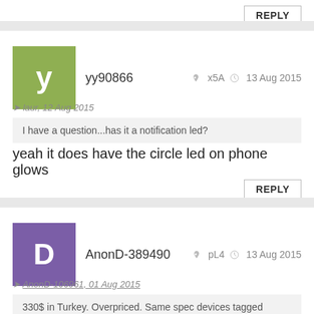REPLY
yy90866  x5A  13 Aug 2015
laur, 12 Aug 2015
I have a question...has it a notification led?
yeah it does have the circle led on phone glows
REPLY
AnonD-389490  pL4  13 Aug 2015
AnonD-106961, 01 Aug 2015
330$ in Turkey. Overpriced. Same spec devices tagged samsun... more